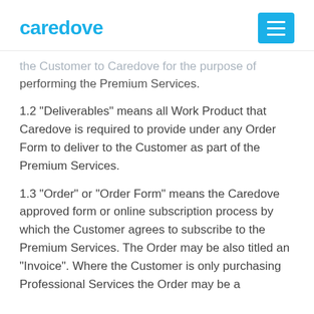caredove
the Customer to Caredove for the purpose of performing the Premium Services.
1.2 “Deliverables” means all Work Product that Caredove is required to provide under any Order Form to deliver to the Customer as part of the Premium Services.
1.3 “Order” or “Order Form” means the Caredove approved form or online subscription process by which the Customer agrees to subscribe to the Premium Services. The Order may be also titled an “Invoice”. Where the Customer is only purchasing Professional Services the Order may be a